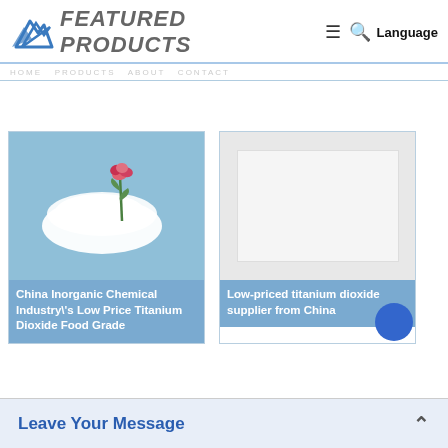FEATURED PRODUCTS
[Figure (photo): Product card: white powder in bowl with pink rose bud on blue background. Caption: China Inorganic Chemical Industry's Low Price Titanium Dioxide Food Grade]
China Inorganic Chemical Industry\'s Low Price Titanium Dioxide Food Grade
[Figure (photo): Product card: white/blank image area on gray background. Caption: Low-priced titanium dioxide supplier from China]
Low-priced titanium dioxide supplier from China
Leave Your Message